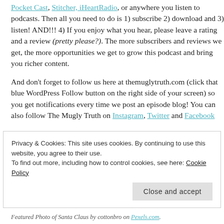Pocket Cast, Stitcher, iHeartRadio, or anywhere you listen to podcasts. Then all you need to do is 1) subscribe 2) download and 3) listen! AND!!! 4) If you enjoy what you hear, please leave a rating and a review (pretty please?). The more subscribers and reviews we get, the more opportunities we get to grow this podcast and bring you richer content.

And don't forget to follow us here at themuglytruth.com (click that blue WordPress Follow button on the right side of your screen) so you get notifications every time we post an episode blog! You can also follow The Mugly Truth on Instagram, Twitter and Facebook
Privacy & Cookies: This site uses cookies. By continuing to use this website, you agree to their use.
To find out more, including how to control cookies, see here: Cookie Policy
Featured Photo of Santa Claus by cottonbro on Pexels.com.